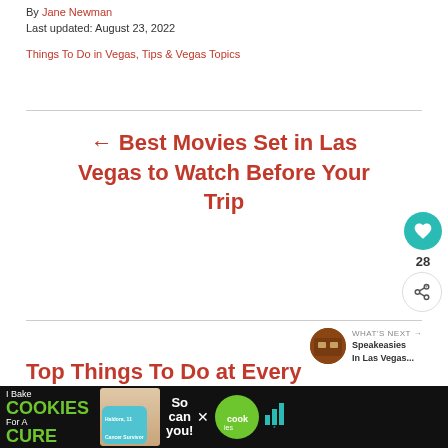By Jane Newman
Last updated: August 23, 2022
Things To Do in Vegas, Tips & Vegas Topics
← Best Movies Set in Las Vegas to Watch Before Your Trip
28
WHAT'S NEXT → Speakeasies In Las Vegas...
Top Things To Do at Every Las Vegas Strip Resort
[Figure (infographic): Advertisement banner: I Bake COOKIES For A CURE - Haldora, 11 Cancer Survivor - So can you! - cookies for kids cancer logo with X close button]